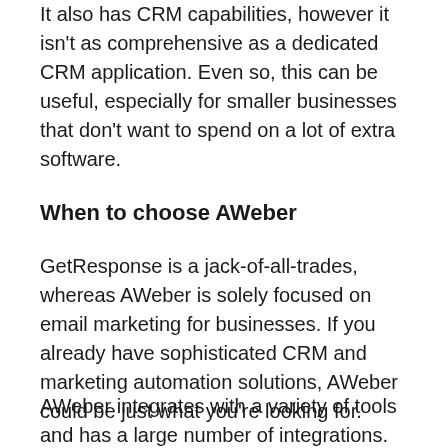It also has CRM capabilities, however it isn't as comprehensive as a dedicated CRM application. Even so, this can be useful, especially for smaller businesses that don't want to spend on a lot of extra software.
When to choose AWeber
GetResponse is a jack-of-all-trades, whereas AWeber is solely focused on email marketing for businesses. If you already have sophisticated CRM and marketing automation solutions, AWeber could be just what you're looking for.
AWeber integrates with a variety of tools and has a large number of integrations. More email templates, phone assistance, and flawless compatibility with AMP and the Gmail mobile